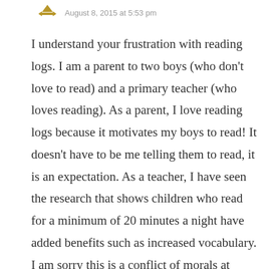August 8, 2015 at 5:53 pm
I understand your frustration with reading logs. I am a parent to two boys (who don't love to read) and a primary teacher (who loves reading). As a parent, I love reading logs because it motivates my boys to read! It doesn't have to be me telling them to read, it is an expectation. As a teacher, I have seen the research that shows children who read for a minimum of 20 minutes a night have added benefits such as increased vocabulary. I am sorry this is a conflict of morals at home. Truly, it really isn't a work of fiction because your daughter is reading…on her own which is wonderful. So you might stretch dates or page numbers, that's ok. The